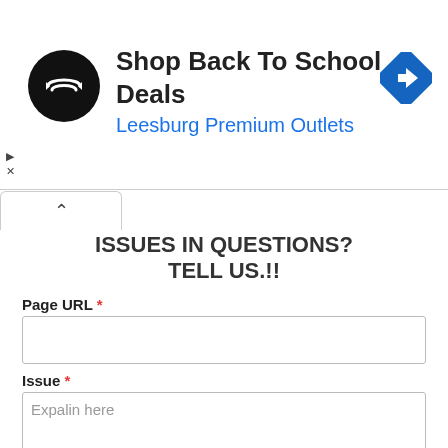[Figure (infographic): Advertisement banner for Leesburg Premium Outlets with logo, title 'Shop Back To School Deals', and a blue navigation icon]
ISSUES IN QUESTIONS?
TELL US.!!
Page URL *
Issue *
Expalin here